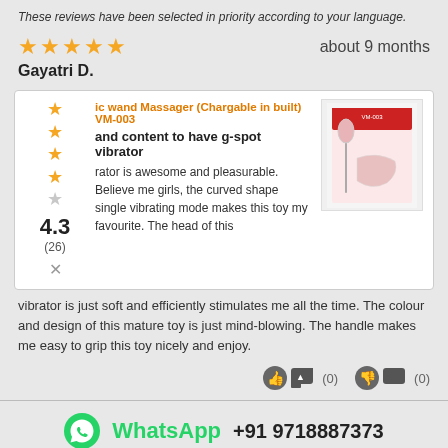These reviews have been selected in priority according to your language.
★★★★★  about 9 months
Gayatri D.
[Figure (screenshot): Product review card showing 5-star rating breakdown (4.3 out of 5, 26 reviews), product image of wand massager, product name 'ic wand Massager (Chargable in built) VM-003', review title 'and content to have g-spot vibrator', partial review text 'rator is awesome and pleasurable. Believe me girls, the curved shape single vibrating mode makes this toy my favourite. The head of this']
vibrator is just soft and efficiently stimulates me all the time. The colour and design of this mature toy is just mind-blowing. The handle makes me easy to grip this toy nicely and enjoy.
(0)  (0)
WhatsApp  +91 9718887373